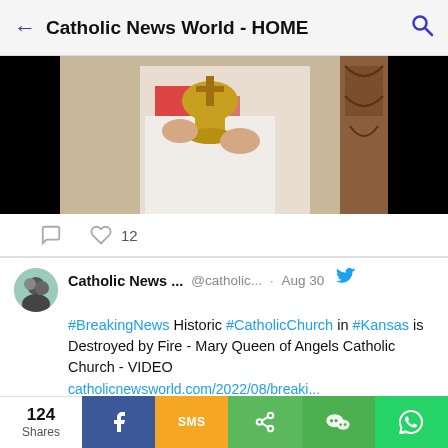Catholic News World - HOME
[Figure (photo): Partial view of a religious statue holding a golden chalice, cropped with black bars on sides]
♡ 12
Catholic News ... @catholic... · Aug 30 #BreakingNews Historic #CatholicChurch in #Kansas is Destroyed by Fire - Mary Queen of Angels Catholic Church - VIDEO catholicnewsworld.com/2022/08/breaki...
[Figure (photo): Partial image of a church building on fire at night with flames visible]
124 Shares